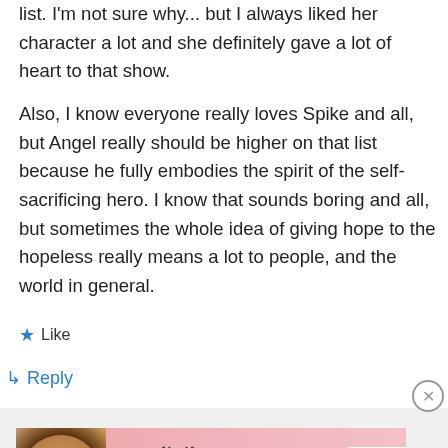list. I'm not sure why... but I always liked her character a lot and she definitely gave a lot of heart to that show.

Also, I know everyone really loves Spike and all, but Angel really should be higher on that list because he fully embodies the spirit of the self-sacrificing hero. I know that sounds boring and all, but sometimes the whole idea of giving hope to the hopeless really means a lot to people, and the world in general.
Like
Reply
Advertisements
[Figure (other): Victoria's Secret advertisement banner with a model, VS logo, and 'SHOP THE COLLECTION / SHOP NOW' text]